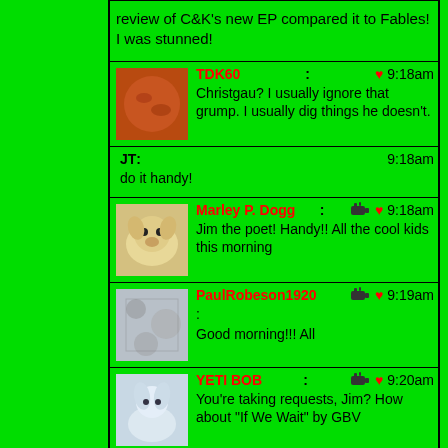review of C&K's new EP compared it to Fables! I was stunned!
TDK60: 9:18am — Christgau? I usually ignore that grump. I usually dig things he doesn't.
JT: 9:18am — do it handy!
Marley P. Dogg: 9:18am — Jim the poet! Handy!! All the cool kids this morning
PaulRobeson1920: 9:19am — Good morning!!! All
YETI BOB: 9:20am — You're taking requests, Jim? How about "If We Wait" by GBV
LastWhiteRhino: 9:20am — Jim , you "Animal", how da heck R U doin"?
Handy Haversack: 9:21am — Marley!